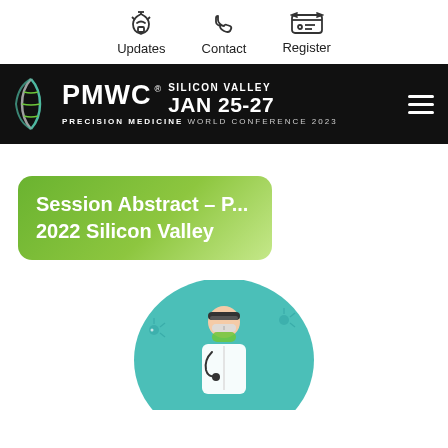Updates   Contact   Register
[Figure (logo): PMWC Precision Medicine World Conference 2023 logo banner with DNA helix graphic, text: PMWC SILICON VALLEY JAN 25-27 PRECISION MEDICINE WORLD CONFERENCE 2023]
Session Abstract – P... 2022 Silicon Valley
[Figure (illustration): Circular teal illustration showing a medical professional figure with virus/pathogen icons around]